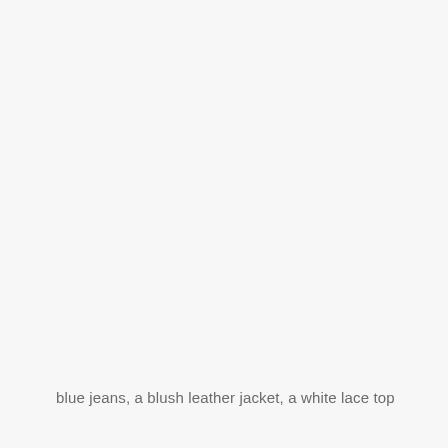blue jeans, a blush leather jacket, a white lace top